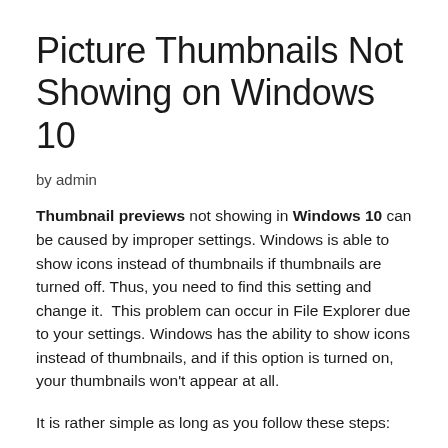Picture Thumbnails Not Showing on Windows 10
by admin
Thumbnail previews not showing in Windows 10 can be caused by improper settings. Windows is able to show icons instead of thumbnails if thumbnails are turned off. Thus, you need to find this setting and change it.  This problem can occur in File Explorer due to your settings. Windows has the ability to show icons instead of thumbnails, and if this option is turned on, your thumbnails won't appear at all.
It is rather simple as long as you follow these steps: